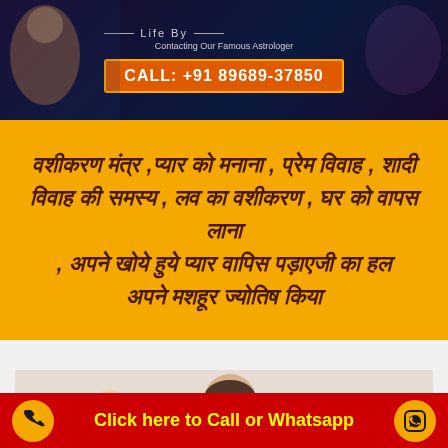[Figure (infographic): Top banner with dark blue/purple background showing an astrologer figure, brain graphic, text 'Life By', 'Contacting Our Famous Astrologer', and call box with phone number +91 89689-37850]
वशीकरण मंत्र ,प्यार की मनाना , प्रेम विवाह , शादी विवाह की समस्या , लव का वशीकरण , घर को वापस लाना , अपने खोये हुये प्यार वापिस पड़ाएजी का हल अपने मशहूर ज्योतिष
[Figure (photo): Family photo showing a couple in conflict with a child, light background]
Click here to Call or Whatsapp